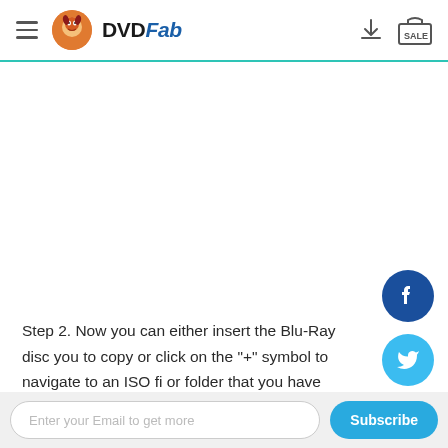DVDFab — hamburger menu, logo, download icon, SALE icon
Step 2. Now you can either insert the Blu-Ray disc you to copy or click on the "+" symbol to navigate to an ISO fi  or folder that you have previously stored locally. For this
Enter your Email to get more
Subscribe